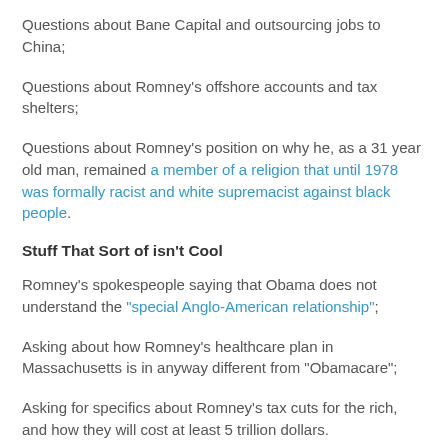Questions about Bane Capital and outsourcing jobs to China;
Questions about Romney's offshore accounts and tax shelters;
Questions about Romney's position on why he, as a 31 year old man, remained a member of a religion that until 1978 was formally racist and white supremacist against black people.
Stuff That Sort of isn't Cool
Romney's spokespeople saying that Obama does not understand the "special Anglo-American relationship";
Asking about how Romney's healthcare plan in Massachusetts is in anyway different from "Obamacare";
Asking for specifics about Romney's tax cuts for the rich, and how they will cost at least 5 trillion dollars.